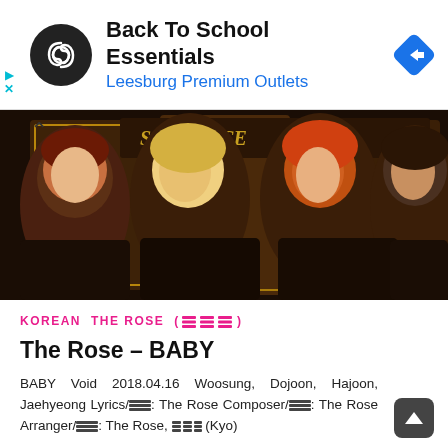[Figure (infographic): Ad banner with circular black logo containing double-loop icon, text 'Back To School Essentials' in bold black and 'Leesburg Premium Outlets' in blue, and a blue diamond navigation icon on the right. Cyan play and X icons on far left.]
[Figure (photo): Photo of four young Korean male musicians (The Rose) with colorful hair (dark red, blonde, orange/red, brown) wearing dark clothing against an ornate golden background with stylized text.]
KOREAN   THE ROSE (≡ ≡≡)
The Rose – BABY
BABY Void 2018.04.16 Woosung, Dojoon, Hajoon, Jaehyeong Lyrics/≡≡: The Rose Composer/≡≡: The Rose Arranger/≡≡: The Rose, ≡≡≡ (Kyo)